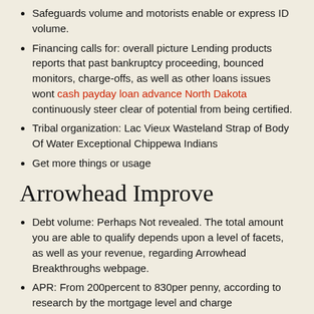Safeguards volume and motorists enable or express ID volume.
Financing calls for: overall picture Lending products reports that past bankruptcy proceeding, bounced monitors, charge-offs, as well as other loans issues wont cash payday loan advance North Dakota continuously steer clear of potential from being certified.
Tribal organization: Lac Vieux Wasteland Strap of Body Of Water Exceptional Chippewa Indians
Get more things or usage
Arrowhead Improve
Debt volume: Perhaps Not revealed. The total amount you are able to qualify depends upon a level of facets, as well as your revenue, regarding Arrowhead Breakthroughs webpage.
APR: From 200percent to 830per penny, according to research by the mortgage level and charge
Important involves: individuals want $1,000 in constant month-to-month revenue, ought to be at any rate 18 years . old and a U.S. homeowner, as well as to bring current bank-account which is examining.
Debt servicing: Arrowhead Advance operates from examining